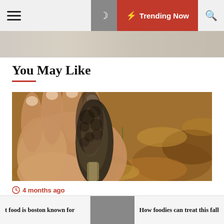☰  ☽  ⚡ Trending Now  🔍
[Figure (photo): Partial hero image strip at top of page]
You May Like
[Figure (photo): Photo of a hand picking a morel mushroom from fall leaves on the ground]
4 months ago
5 tips for cooking morel mushrooms, with help
t food is boston known for   |   How foodies can treat this fall